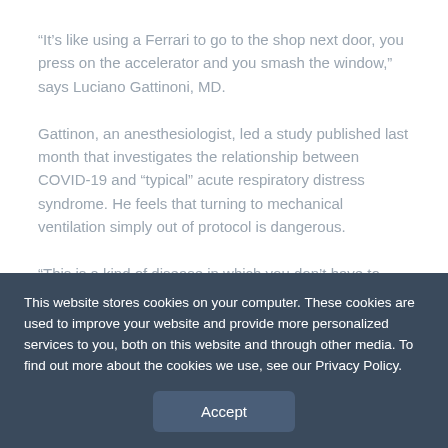“It’s like using a Ferrari to go to the shop next door, you press on the accelerator and you smash the window,” says Luciano Gattinoni, MD.
Gattinon, an anesthesiologist, led a study published last month that investigates the relationship between COVID-19 and “typical” acute respiratory distress syndrome. He feels that turning to mechanical ventilation simply out of protocol is dangerous.
“This is a kind of disease in which you don’t have to
This website stores cookies on your computer. These cookies are used to improve your website and provide more personalized services to you, both on this website and through other media. To find out more about the cookies we use, see our Privacy Policy.
Accept